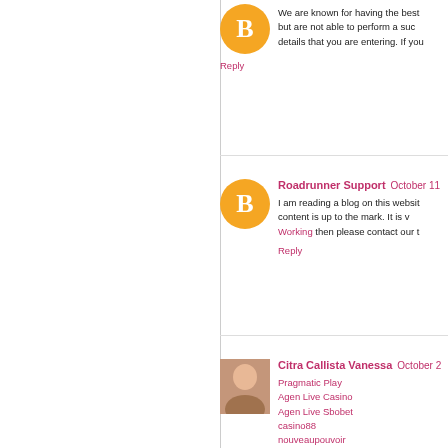We are known for having the best but are not able to perform a such details that you are entering. If you
Reply
Roadrunner Support  October 11
I am reading a blog on this website content is up to the mark. It is w Working then please contact our t
Reply
Citra Callista Vanessa  October 2
Pragmatic Play
Agen Live Casino
Agen Live Sbobet
casino88
nouveaupouvoir
philablazers
soobahkdo
ukiphome
autoandrive
loureedforum